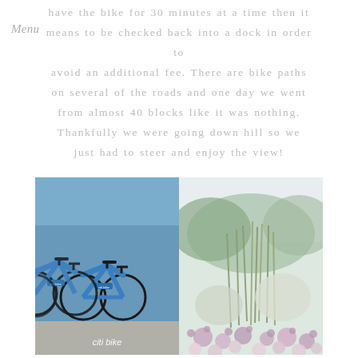have the bike for 30 minutes at a time then it means to be checked back into a dock in order to avoid an additional fee. There are bike paths on several of the roads and one day we went from almost 40 blocks like it was nothing. Thankfully we were going down hill so we just had to steer and enjoy the view!
[Figure (photo): Two side-by-side photos: left shows a row of blue Citi Bikes in a docking station, right shows a lush garden with wildflowers and tall grasses]